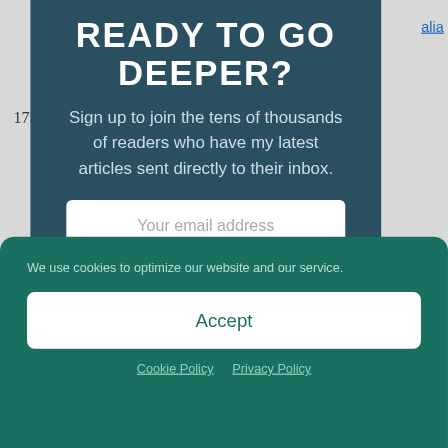READY TO GO DEEPER?
Sign up to join the tens of thousands of readers who have my latest articles sent directly to their inbox.
[Figure (screenshot): Email subscription form with 'Your email address' input field and orange 'Subscribe' button on dark teal background]
We use cookies to optimize our website and our service.
Accept
Cookie Policy   Privacy Policy